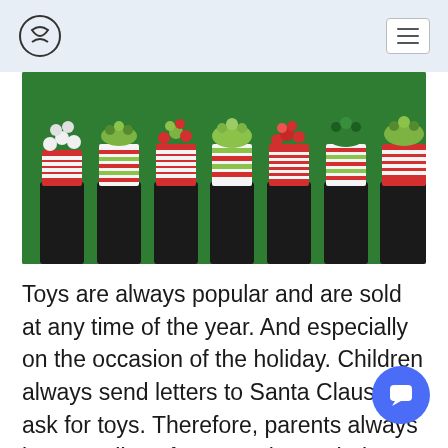Navigation bar with logo and hamburger menu
[Figure (photo): A row of Christmas craft decorations made from bottles wrapped in red, white and green ribbon/yarn with clay decorations on top, arranged on a green background]
Toys are always popular and are sold at any time of the year. And especially on the occasion of the holiday. Children always send letters to Santa Claus and ask for toys. Therefore, parents always buy supplies of toys to please their kids. Christmas toys alwa[ys sell] out very quickly, and it's best to list the different types of toys during the Christmas